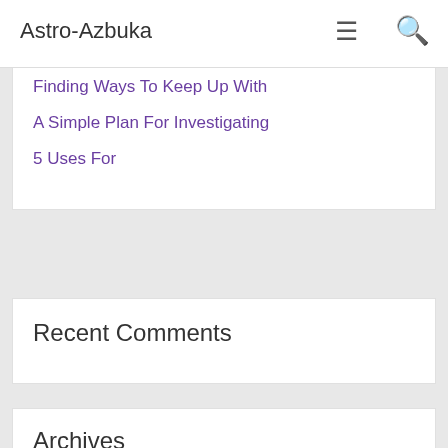Digital Transfer – Tips4VideotoDVD Coventry
Practical and Helpful Tips:
Astro-Azbuka
Finding Ways To Keep Up With
A Simple Plan For Investigating
5 Uses For
Recent Comments
Archives